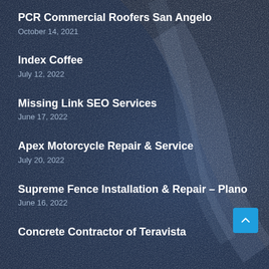PCR Commercial Roofers San Angelo
October 14, 2021
Index Coffee
July 12, 2022
Missing Link SEO Services
June 17, 2022
Apex Motorcycle Repair & Service
July 20, 2022
Supreme Fence Installation & Repair – Plano
June 16, 2022
Concrete Contractor of Teravista